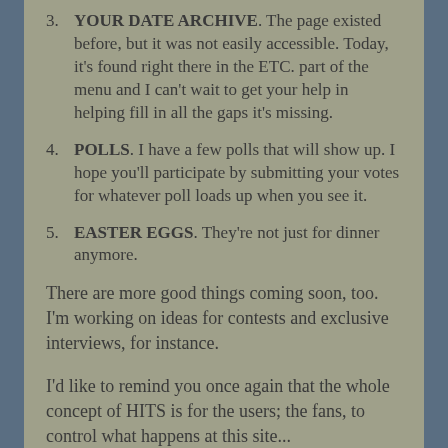3. YOUR DATE ARCHIVE. The page existed before, but it was not easily accessible. Today, it's found right there in the ETC. part of the menu and I can't wait to get your help in helping fill in all the gaps it's missing.
4. POLLS. I have a few polls that will show up. I hope you'll participate by submitting your votes for whatever poll loads up when you see it.
5. EASTER EGGS. They're not just for dinner anymore.
There are more good things coming soon, too. I'm working on ideas for contests and exclusive interviews, for instance.
I'd like to remind you once again that the whole concept of HITS is for the users; the fans, to control what happens at this site...